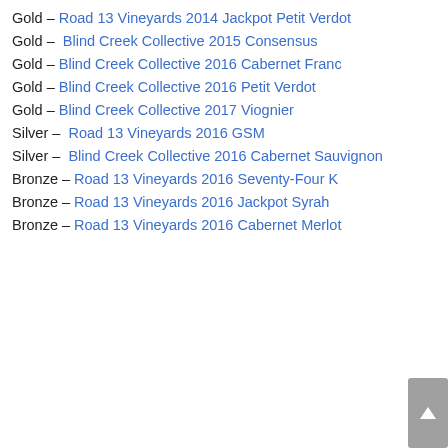Gold – Road 13 Vineyards 2014 Jackpot Petit Verdot
Gold – Blind Creek Collective 2015 Consensus
Gold – Blind Creek Collective 2016 Cabernet Franc
Gold – Blind Creek Collective 2016 Petit Verdot
Gold – Blind Creek Collective 2017 Viognier
Silver – Road 13 Vineyards 2016 GSM
Silver – Blind Creek Collective 2016 Cabernet Sauvignon
Bronze – Road 13 Vineyards 2016 Seventy-Four K
Bronze – Road 13 Vineyards 2016 Jackpot Syrah
Bronze – Road 13 Vineyards 2016 Cabernet Merlot